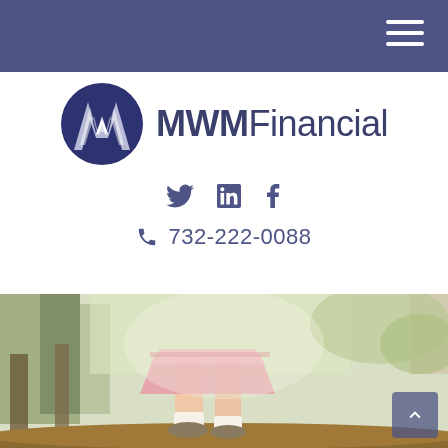MWM Financial navigation bar with hamburger menu
[Figure (logo): MWM Financial logo: circular dark navy badge with stylized M letterform in white/silver, beside bold text 'MWM' and regular text 'Financial' in dark navy]
Twitter  LinkedIn  Facebook social icons
732-222-0088
[Figure (photo): Outdoor photo showing legs and feet of a child in a pink skirt and flat shoes balancing on a log, with trees and nature in the background]